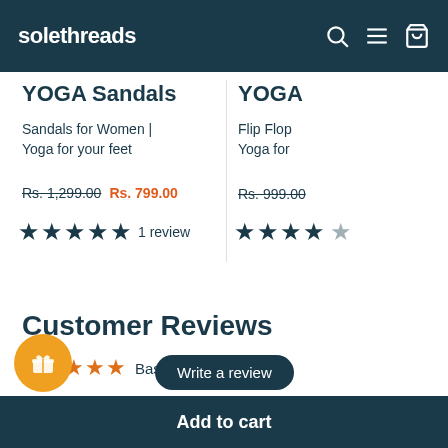solethreads
YOGA Sandals
Sandals for Women | Yoga for your feet
Rs. 1,299.00  Rs. 799.00
★★★★★ 1 review
YOGA
Flip Flop Yoga for
Rs. 999.00
Customer Reviews
★★★★★ Based on 1 review
Write a review
Add to cart